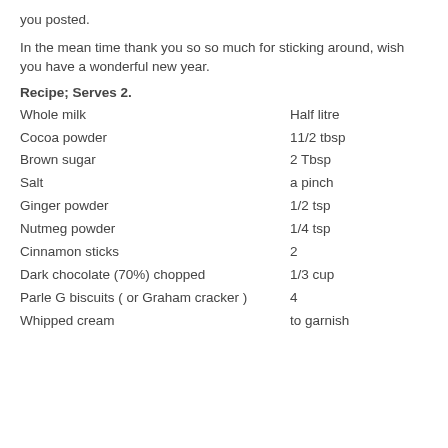you posted.
In the mean time thank you so so much for sticking around, wish you have a wonderful new year.
Recipe; Serves 2.
Whole milk — Half litre
Cocoa powder — 11/2 tbsp
Brown sugar — 2 Tbsp
Salt — a pinch
Ginger powder — 1/2 tsp
Nutmeg powder — 1/4 tsp
Cinnamon sticks — 2
Dark chocolate (70%) chopped — 1/3 cup
Parle G biscuits ( or Graham cracker ) — 4
Whipped cream — to garnish